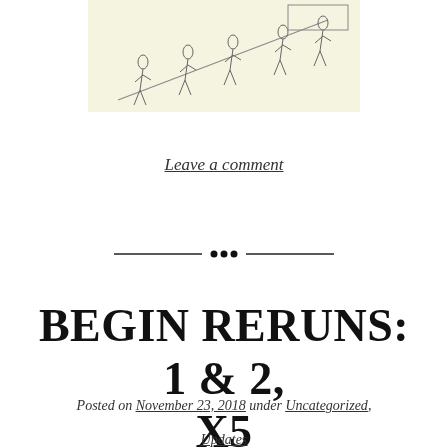[Figure (illustration): Line drawing of stylized human figures on a diagonal path/staircase, light yellow background]
Leave a comment
[Figure (other): Decorative horizontal divider with ornamental dots in the center]
BEGIN RERUNS: 1 & 2, X5
Posted on November 23, 2018 under Uncategorized, Updates